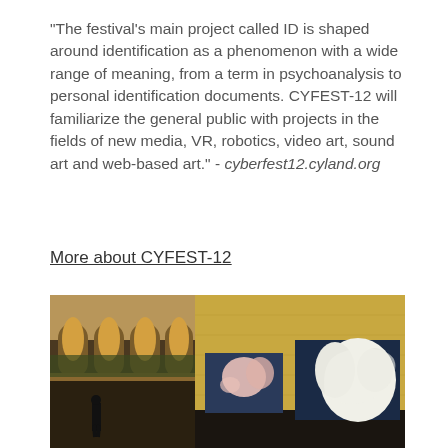"The festival's main project called ID is shaped around identification as a phenomenon with a wide range of meaning, from a term in psychoanalysis to personal identification documents. CYFEST-12 will familiarize the general public with projects in the fields of new media, VR, robotics, video art, sound art and web-based art." - cyberfest12.cyland.org
More about CYFEST-12
[Figure (photo): Interior of an ornate building with arched columns and frescoes on the left, and on the right, a large exhibition space with plywood walls and two large displays showing abstract organic white forms resembling biological shapes. A person is visible walking in the dark space.]